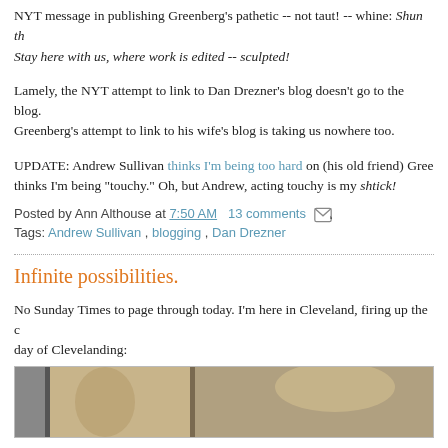NYT message in publishing Greenberg's pathetic -- not taut! -- whine: Shun th... Stay here with us, where work is edited -- sculpted!
Lamely, the NYT attempt to link to Dan Drezner's blog doesn't go to the blog. Greenberg's attempt to link to his wife's blog is taking us nowhere too.
UPDATE: Andrew Sullivan thinks I'm being too hard on (his old friend) Gree... thinks I'm being "touchy." Oh, but Andrew, acting touchy is my shtick!
Posted by Ann Althouse at 7:50 AM   13 comments
Tags: Andrew Sullivan , blogging , Dan Drezner
Infinite possibilities.
No Sunday Times to page through today. I'm here in Cleveland, firing up the c... day of Clevelanding:
[Figure (photo): A photograph showing abstract shapes, possibly of a person or sculpture, in muted brown and grey tones.]